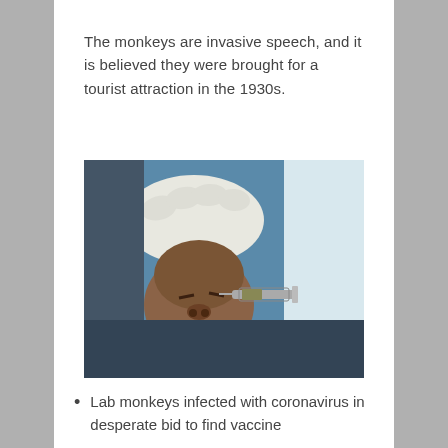The monkeys are invasive speech, and it is believed they were brought for a tourist attraction in the 1930s.
[Figure (photo): A monkey being injected with a syringe by a person wearing white latex gloves and a lab coat. The monkey appears distressed, with its face close-up and a gloved hand holding a syringe to its head.]
Lab monkeys infected with coronavirus in desperate bid to find vaccine